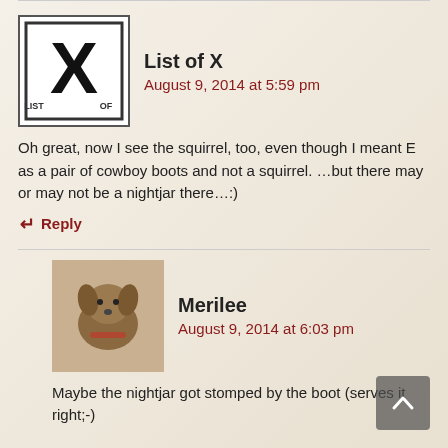[Figure (logo): List of X blog logo — a large X with 'LIST' and 'OF' text, bordered square]
List of X
August 9, 2014 at 5:59 pm
Oh great, now I see the squirrel, too, even though I meant E as a pair of cowboy boots and not a squirrel. …but there may or may not be a nightjar there…:)
↵ Reply
[Figure (photo): Avatar photo of a dog (brown/tan, shepherd mix with red collar)]
Merilee
August 9, 2014 at 6:03 pm
Maybe the nightjar got stomped by the boot (serves it right;-)